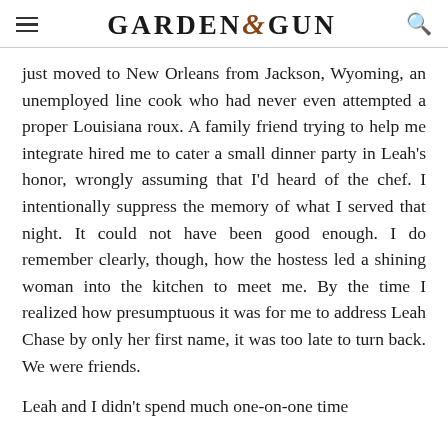Garden & Gun
just moved to New Orleans from Jackson, Wyoming, an unemployed line cook who had never even attempted a proper Louisiana roux. A family friend trying to help me integrate hired me to cater a small dinner party in Leah's honor, wrongly assuming that I'd heard of the chef. I intentionally suppress the memory of what I served that night. It could not have been good enough. I do remember clearly, though, how the hostess led a shining woman into the kitchen to meet me. By the time I realized how presumptuous it was for me to address Leah Chase by only her first name, it was too late to turn back. We were friends.
Leah and I didn't spend much one-on-one time